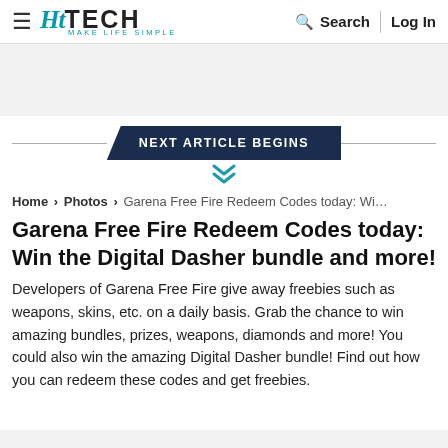HT TECH — MAKE LIFE SIMPLE | Search | Log In
[Figure (other): Gray advertisement placeholder area]
NEXT ARTICLE BEGINS
Home › Photos › Garena Free Fire Redeem Codes today: Wi…
Garena Free Fire Redeem Codes today: Win the Digital Dasher bundle and more!
Developers of Garena Free Fire give away freebies such as weapons, skins, etc. on a daily basis. Grab the chance to win amazing bundles, prizes, weapons, diamonds and more! You could also win the amazing Digital Dasher bundle! Find out how you can redeem these codes and get freebies.